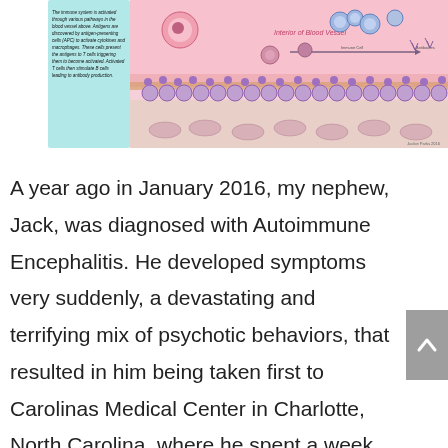[Figure (illustration): Scientific diagram illustrating the interior of a blood vessel, showing immune system cells including macrophages, T cells, and antibody-producing cells interacting within the vessel. Pink vessel walls, purple and blue cellular components, with labels including 'Interior of Blood Vessel'. A text box on the left describes the immune process. Credited artwork.]
A year ago in January 2016, my nephew, Jack, was diagnosed with Autoimmune Encephalitis. He developed symptoms very suddenly, a devastating and terrifying mix of psychotic behaviors, that resulted in him being taken first to Carolinas Medical Center in Charlotte, North Carolina, where he spent a week, and then by ambulance to Duke Medical Center's Children's Hospital in